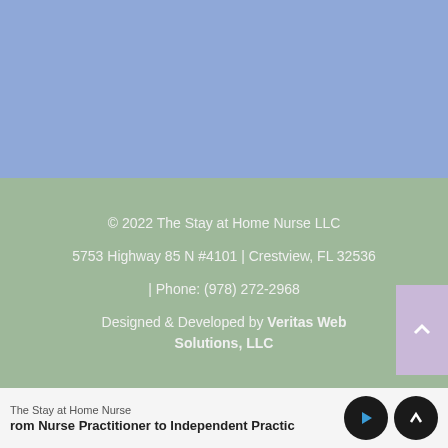[Figure (illustration): Blue-gray background section (header/hero area placeholder)]
© 2022 The Stay at Home Nurse LLC
5753 Highway 85 N #4101 | Crestview, FL 32536
| Phone: (978) 272-2968
Designed & Developed by Veritas Web Solutions, LLC
The Stay at Home Nurse
rom Nurse Practitioner to Independent Practic